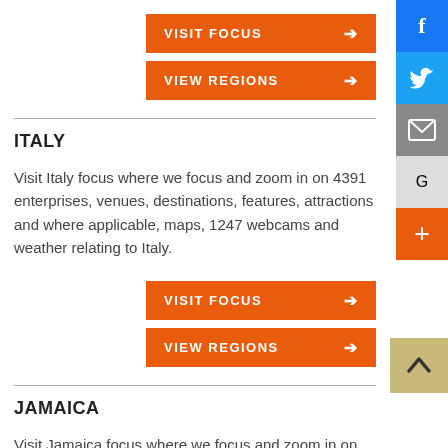[Figure (other): Orange 'VISIT FOCUS' button with right arrow]
[Figure (other): Orange 'VIEW REGIONS' button with right arrow]
ITALY
Visit Italy focus where we focus and zoom in on 4391 enterprises, venues, destinations, features, attractions and where applicable, maps, 1247 webcams and weather relating to Italy.
[Figure (other): Orange 'VISIT FOCUS' button with right arrow]
[Figure (other): Orange 'VIEW REGIONS' button with right arrow]
JAMAICA
Visit Jamaica focus where we focus and zoom in on 234 enterprises, venues, destinations, features, attractions and where applicable, maps, 19 webcams and weather relating to Jamaica.